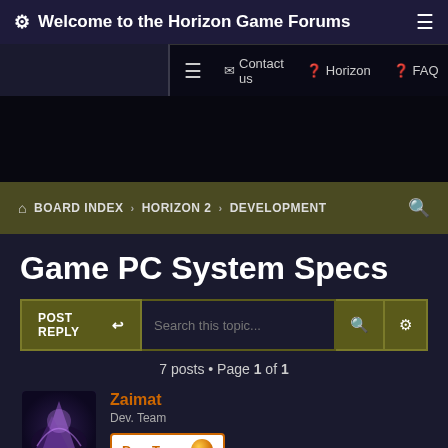Welcome to the Horizon Game Forums
Contact us | Horizon | FAQ | Register | Login
BOARD INDEX > HORIZON 2 > DEVELOPMENT
Game PC System Specs
7 posts • Page 1 of 1
Zaimat
Dev. Team
Dev. Team
Thu Jan 21, 2021 1:03 pm